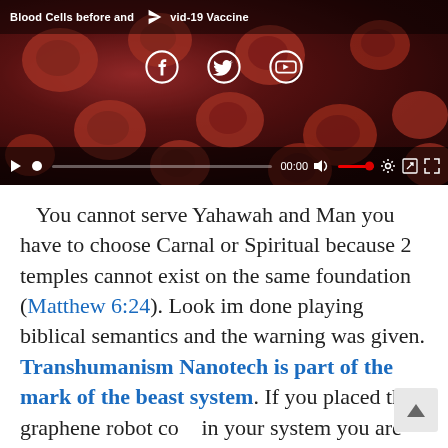[Figure (screenshot): Video player screenshot showing blood cells microscopy image with title 'Blood Cells before and [after] Covid-19 Vaccine', social share icons (Facebook, Twitter, YouTube), and video playback controls showing 00:00 timestamp]
You cannot serve Yahawah and Man you have to choose Carnal or Spiritual because 2 temples cannot exist on the same foundation (Matthew 6:24). Look im done playing biblical semantics and the warning was given. Transhumanism Nanotech is part of the mark of the beast system. If you placed that graphene robot co[ntent] in your system you are FINISHED and will